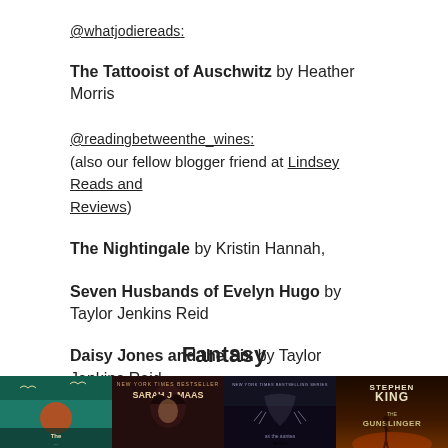@whatjodiereads:
The Tattooist of Auschwitz by Heather Morris
@readingbetweenthe_wines:
(also our fellow blogger friend at Lindsey Reads and Reviews)
The Nightingale by Kristin Hannah,
Seven Husbands of Evelyn Hugo by Taylor Jenkins Reid
Daisy Jones and the Six by Taylor Jenkins Reid
Fantasy
[Figure (photo): Four fantasy book covers displayed side by side: an illustrated book with herons on teal background, a Sarah J. Maas dark cover with a woman, a dark fantasy series cover, and Stephen King's The Gunslinger cover]